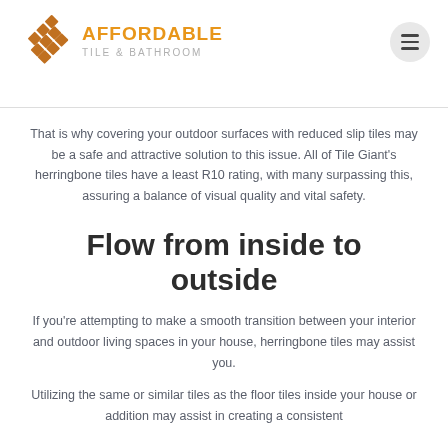Affordable
That is why covering your outdoor surfaces with reduced slip tiles may be a safe and attractive solution to this issue. All of Tile Giant's herringbone tiles have a least R10 rating, with many surpassing this, assuring a balance of visual quality and vital safety.
Flow from inside to outside
If you're attempting to make a smooth transition between your interior and outdoor living spaces in your house, herringbone tiles may assist you.
Utilizing the same or similar tiles as the floor tiles inside your house or addition may assist in creating a consistent